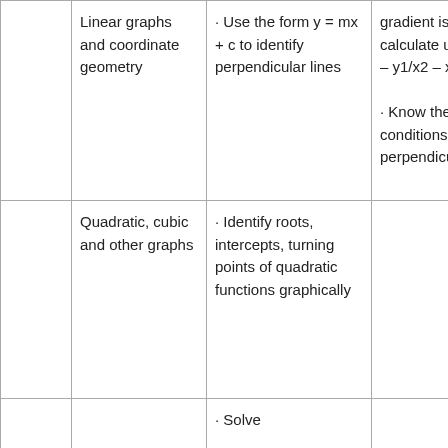|  | Linear graphs and coordinate geometry | · Use the form y = mx + c to identify perpendicular lines | gradient is calculate using y2 – y1/x2 – x1
· Know the conditions for perpendicular lines |
|  | Quadratic, cubic and other graphs | · Identify roots, intercepts, turning points of quadratic functions graphically |  |
|  |  | · Solve |  |